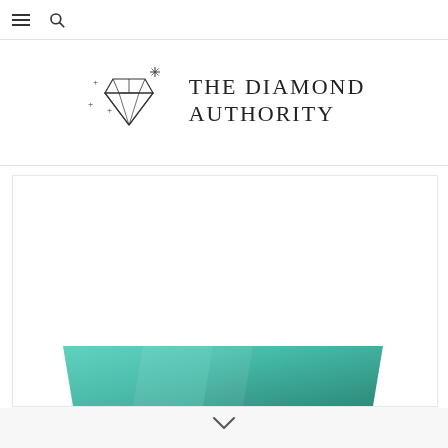Navigation bar with hamburger menu and search icon
[Figure (logo): The Diamond Authority logo — a line-art diamond gem with sparkle marks on the left, and the text THE DIAMOND AUTHORITY in large spaced serif capitals on the right]
[Figure (photo): Partial view of a teal/turquoise gemstone or jewelry item, showing a trapezoidal faceted shape with gradient sheen, situated at the bottom of a white card area]